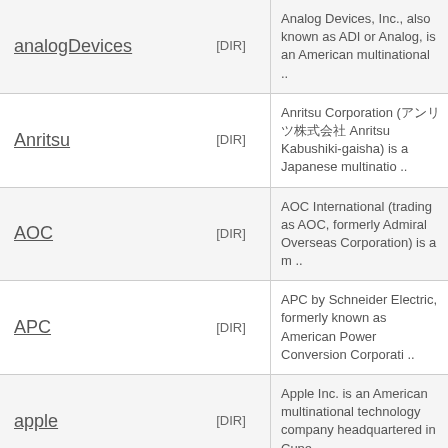| Name | Type | Description |
| --- | --- | --- |
| analogDevices | [DIR] | Analog Devices, Inc., also known as ADI or Analog, is an American multinational .. |
| Anritsu | [DIR] | Anritsu Corporation (アンリツ株式会社 Anritsu Kabushiki-gaisha) is a Japanese multinatio .. |
| AOC | [DIR] | AOC International (trading as AOC, formerly Admiral Overseas Corporation) is a m .. |
| APC | [DIR] | APC by Schneider Electric, formerly known as American Power Conversion Corporati .. |
| apple | [DIR] | Apple Inc. is an American multinational technology company headquartered in Cupe .. |
| ARCAM | [DIR] | A&R Cambridge Ltd (Arcam) is a British manufacturer of hi-fi equipment based in .. |
| (partial) | [DIR] | Asko Appliances AB is a Swedish |